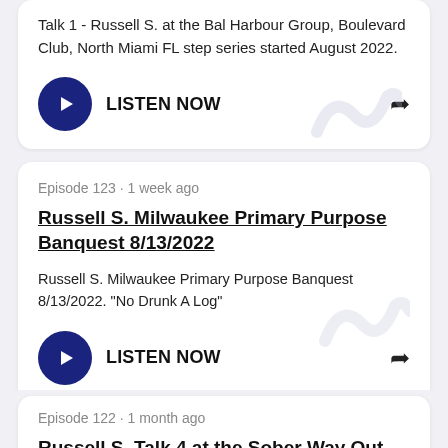Talk 1 - Russell S. at the Bal Harbour Group, Boulevard Club, North Miami FL step series started August 2022.
LISTEN NOW
Episode 123 · 1 week ago
Russell S. Milwaukee Primary Purpose Banquest 8/13/2022
Russell S. Milwaukee Primary Purpose Banquest 8/13/2022. "No Drunk A Log"
LISTEN NOW
Episode 122 · 1 month ago
Russell S. Talk 4 at the Sober Way Out